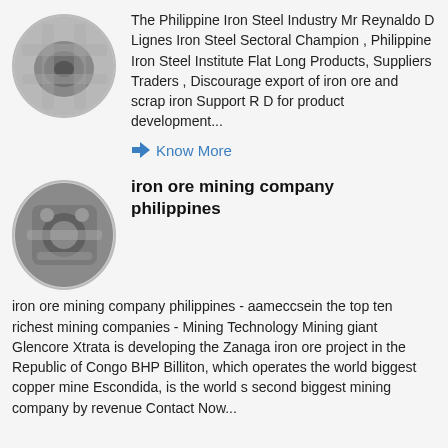[Figure (photo): Circular framed industrial machinery photo, iron/steel manufacturing equipment, greyscale tones]
The Philippine Iron Steel Industry Mr Reynaldo D Lignes Iron Steel Sectoral Champion , Philippine Iron Steel Institute Flat Long Products, Suppliers Traders , Discourage export of iron ore and scrap iron Support R D for product development...
Know More
[Figure (photo): Circular framed industrial machinery photo, heavy steel/iron equipment component]
iron ore mining company philippines
iron ore mining company philippines - aameccsein the top ten richest mining companies - Mining Technology Mining giant Glencore Xtrata is developing the Zanaga iron ore project in the Republic of Congo BHP Billiton, which operates the world biggest copper mine Escondida, is the world s second biggest mining company by revenue Contact Now...